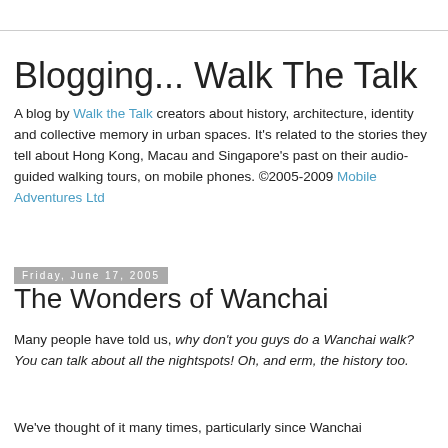Blogging... Walk The Talk
A blog by Walk the Talk creators about history, architecture, identity and collective memory in urban spaces. It's related to the stories they tell about Hong Kong, Macau and Singapore's past on their audio-guided walking tours, on mobile phones. ©2005-2009 Mobile Adventures Ltd
Friday, June 17, 2005
The Wonders of Wanchai
Many people have told us, why don't you guys do a Wanchai walk? You can talk about all the nightspots! Oh, and erm, the history too.
We've thought of it many times, particularly since Wanchai